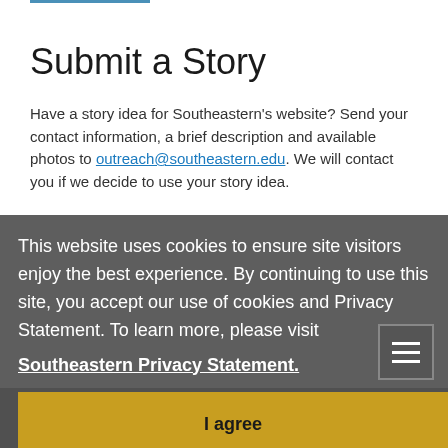Submit a Story
Have a story idea for Southeastern's website? Send your contact information, a brief description and available photos to outreach@southeastern.edu. We will contact you if we decide to use your story idea.
This website uses cookies to ensure site visitors enjoy the best experience. By continuing to use this site, you accept our use of cookies and Privacy Statement. To learn more, please visit
Southeastern Privacy Statement.
I agree